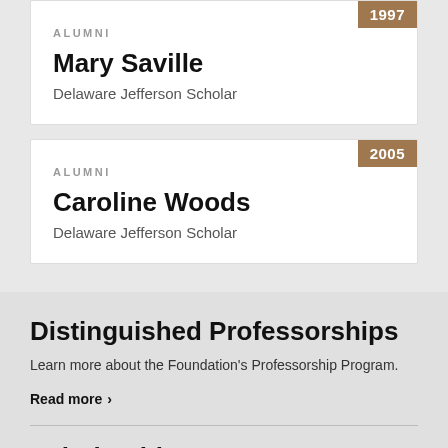ALUMNI
Mary Saville
Delaware Jefferson Scholar
1997
ALUMNI
Caroline Woods
Delaware Jefferson Scholar
2005
Distinguished Professorships
Learn more about the Foundation's Professorship Program.
Read more
Scholarships
The Jefferson Scholarship and the Walentas Scholarship are